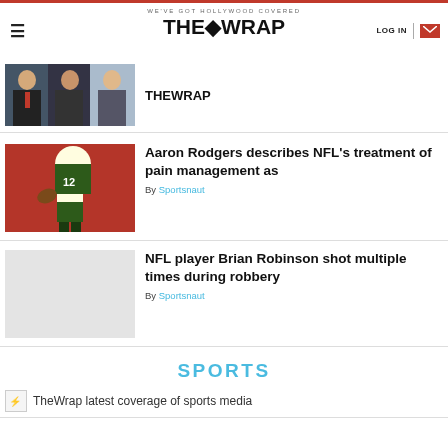THE WRAP — WE'VE GOT HOLLYWOOD COVERED | LOG IN
[Figure (photo): Three men in suits — TheWrap branding]
THEWRAP
[Figure (photo): Aaron Rodgers #12 Green Bay Packers quarterback throwing football, red background]
Aaron Rodgers describes NFL's treatment of pain management as
By Sportsnaut
[Figure (photo): Gray placeholder image for NFL Brian Robinson article]
NFL player Brian Robinson shot multiple times during robbery
By Sportsnaut
SPORTS
TheWrap latest coverage of sports media